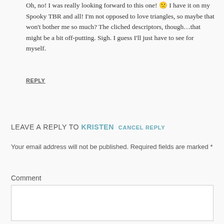Oh, no! I was really looking forward to this one! 🙁 I have it on my Spooky TBR and all! I'm not opposed to love triangles, so maybe that won't bother me so much? The cliched descriptors, though…that might be a bit off-putting. Sigh. I guess I'll just have to see for myself.
REPLY
LEAVE A REPLY TO KRISTEN CANCEL REPLY
Your email address will not be published. Required fields are marked *
Comment